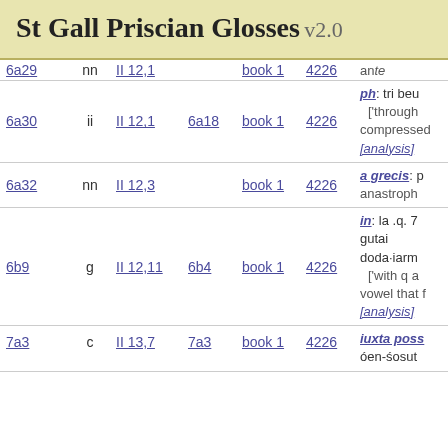St Gall Priscian Glosses v2.0
| ref | mark | book-ref | folio | book | num | gloss |
| --- | --- | --- | --- | --- | --- | --- |
| 6a30 | ii | II 12,1 | 6a18 | book 1 | 4226 | ph: tri beu ['through ... compressed... [analysis] |
| 6a32 | nn | II 12,3 |  | book 1 | 4226 | a grecis: p anastroph |
| 6b9 | g | II 12,11 | 6b4 | book 1 | 4226 | in: la .q. 7 gutai doda·iarm ['with q a vowel that f [analysis] |
| 7a3 | c | II 13,7 | 7a3 | book 1 | 4226 | iuxta poss óen-śosut |